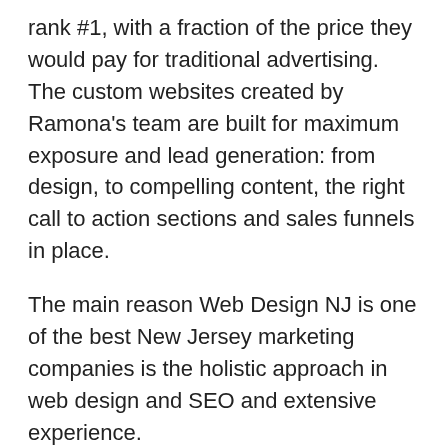rank #1, with a fraction of the price they would pay for traditional advertising. The custom websites created by Ramona's team are built for maximum exposure and lead generation: from design, to compelling content, the right call to action sections and sales funnels in place.
The main reason Web Design NJ is one of the best New Jersey marketing companies is the holistic approach in web design and SEO and extensive experience.
If New Jersey based business owners want to know more about how  Ramona Jar and Web Design NJ can help them thrive online, they can visit www.Web-Design-NJ.com.